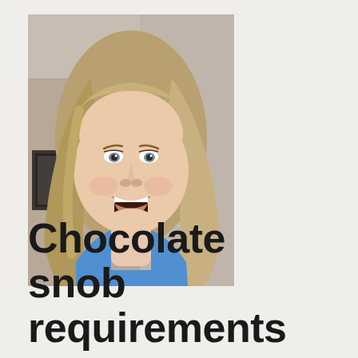[Figure (photo): A smiling woman with long blonde hair biting into a piece of dark chocolate, wearing a blue top, photographed indoors.]
Chocolate snob requirements